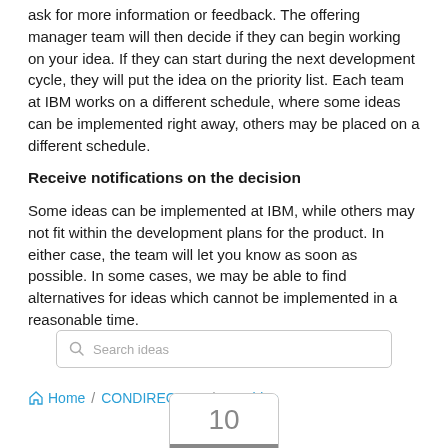ask for more information or feedback. The offering manager team will then decide if they can begin working on your idea. If they can start during the next development cycle, they will put the idea on the priority list. Each team at IBM works on a different schedule, where some ideas can be implemented right away, others may be placed on a different schedule.
Receive notifications on the decision
Some ideas can be implemented at IBM, while others may not fit within the development plans for the product. In either case, the team will let you know as soon as possible. In some cases, we may be able to find alternatives for ideas which cannot be implemented in a reasonable time.
[Figure (screenshot): Search bar with magnifying glass icon and placeholder text 'Search ideas']
Home / CONDIRECT-I-8 / New idea
[Figure (infographic): Vote button box showing the number 10 and a VOTE label at the bottom]